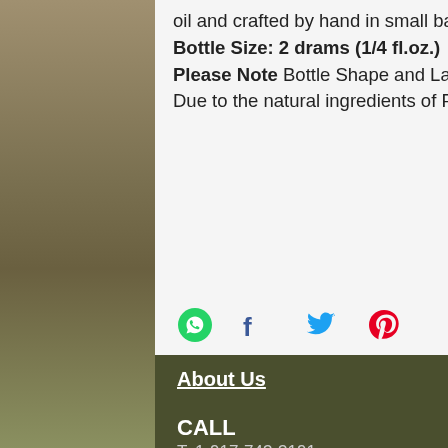oil and crafted by hand in small batches. Bottle Size: 2 drams (1/4 fl.oz.) Please Note Bottle Shape and Label Color May Vary According To Availability. Due to the natural ingredients of Freya's House oil, the color will vary.
[Figure (infographic): Social share icons: WhatsApp (green circle), Facebook (blue f), Twitter (blue bird), Pinterest (pink/red P)]
About Us
CALL
T: 1-917-743-3191
CONTACT